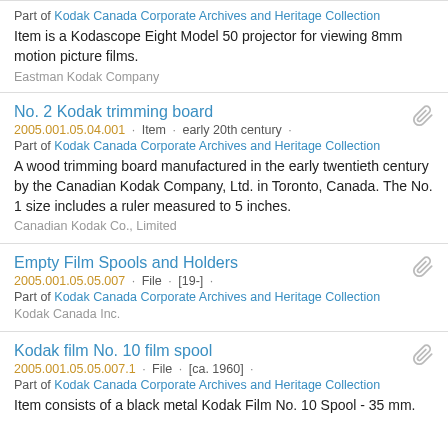Part of Kodak Canada Corporate Archives and Heritage Collection
Item is a Kodascope Eight Model 50 projector for viewing 8mm motion picture films.
Eastman Kodak Company
No. 2 Kodak trimming board
2005.001.05.04.001 · Item · early 20th century ·
Part of Kodak Canada Corporate Archives and Heritage Collection
A wood trimming board manufactured in the early twentieth century by the Canadian Kodak Company, Ltd. in Toronto, Canada. The No. 1 size includes a ruler measured to 5 inches.
Canadian Kodak Co., Limited
Empty Film Spools and Holders
2005.001.05.05.007 · File · [19-] ·
Part of Kodak Canada Corporate Archives and Heritage Collection
Kodak Canada Inc.
Kodak film No. 10 film spool
2005.001.05.05.007.1 · File · [ca. 1960] ·
Part of Kodak Canada Corporate Archives and Heritage Collection
Item consists of a black metal Kodak Film No. 10 Spool - 35 mm.